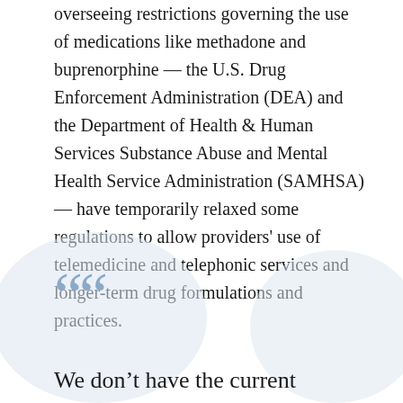overseeing restrictions governing the use of medications like methadone and buprenorphine — the U.S. Drug Enforcement Administration (DEA) and the Department of Health & Human Services Substance Abuse and Mental Health Service Administration (SAMHSA) — have temporarily relaxed some regulations to allow providers' use of telemedicine and telephonic services and longer-term drug formulations and practices.
We don't have the current